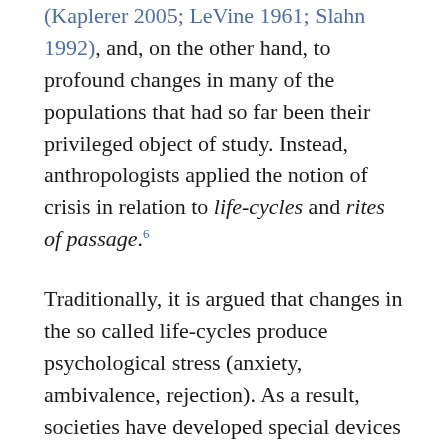(Kaplerer 2005; LeVine 1961; Slahn 1992), and, on the other hand, to profound changes in many of the populations that had so far been their privileged object of study. Instead, anthropologists applied the notion of crisis in relation to life-cycles and rites of passage.6
Traditionally, it is argued that changes in the so called life-cycles produce psychological stress (anxiety, ambivalence, rejection). As a result, societies have developed special devices to mitigate the negative effects of such situations, such as the rites of passage or transition. Focusing on birth, childhood, puberty, marriage, pregnancy, parenthood and death ceremonials, the Dutch-German-French ethnographer and folklorist Arnold Van Gennep found a universal standard for every rite of passage, based on